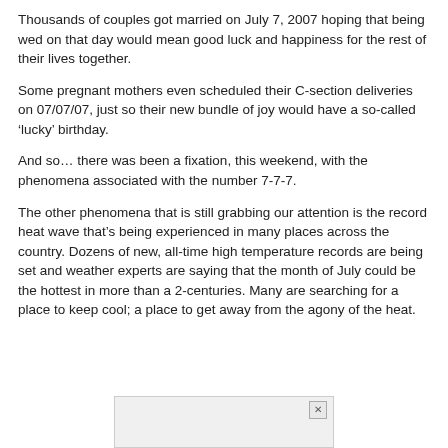Thousands of couples got married on July 7, 2007 hoping that being wed on that day would mean good luck and happiness for the rest of their lives together.
Some pregnant mothers even scheduled their C-section deliveries on 07/07/07, just so their new bundle of joy would have a so-called ‘lucky’ birthday.
And so… there was been a fixation, this weekend, with the phenomena associated with the number 7-7-7.
The other phenomena that is still grabbing our attention is the record heat wave that’s being experienced in many places across the country. Dozens of new, all-time high temperature records are being set and weather experts are saying that the month of July could be the hottest in more than a 2-centuries. Many are searching for a place to keep cool; a place to get away from the agony of the heat.
[Figure (other): Advertisement box with close button (X) at top right and partial image at bottom]